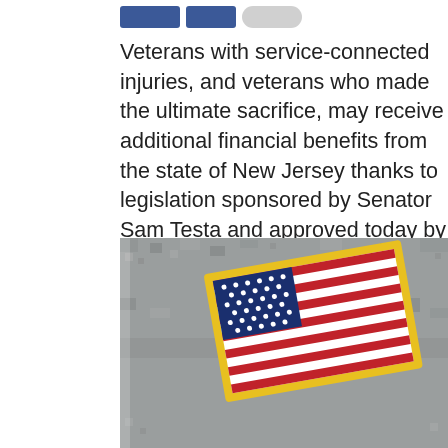[Figure (other): Social media share buttons: two blue Facebook buttons and one light gray Twitter button]
Veterans with service-connected injuries, and veterans who made the ultimate sacrifice, may receive additional financial benefits from the state of New Jersey thanks to legislation sponsored by Senator Sam Testa and approved today by the Senate Budget & Appropriations Committee.
[Figure (photo): Close-up photograph of a US Army military uniform shoulder with an embroidered American flag patch framed in yellow/gold stitching, on a gray digital camouflage background.]